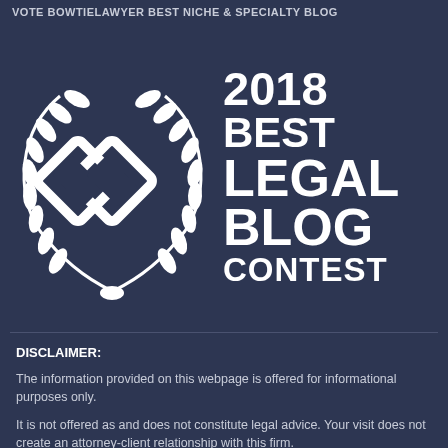VOTE BOWTIELAWYER BEST NICHE & SPECIALTY BLOG
[Figure (logo): 2018 Best Legal Blog Contest badge — circular laurel wreath with interlocking chain-link diamond logo on a dark navy background, with text '2018 BEST LEGAL BLOG CONTEST' to the right]
DISCLAIMER:
The information provided on this webpage is offered for informational purposes only.
It is not offered as and does not constitute legal advice. Your visit does not create an attorney-client relationship with this firm.